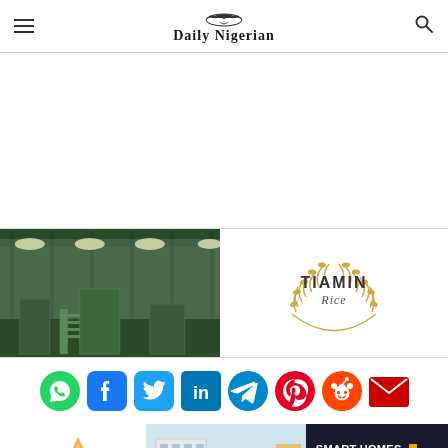Daily Nigerian
[Figure (photo): White space / advertisement area (blank)]
[Figure (photo): Advertisement banner: left side shows a factory/industrial interior with green metal structures and bright lighting (Tiamin Rice mill); right side shows Tiamin Rice logo — circular wheat wreath with TIAMIN text and 'Rice' in script below, on white background]
[Figure (infographic): Social media sharing icons row: WhatsApp (green), Facebook (blue), Twitter (blue bird), LinkedIn (blue), Telegram (blue), Pinterest (red), Reddit (orange), Email/envelope (red)]
[Figure (photo): Advertisement banner for Cosgrove Real Estate: left shows Cosgrove logo (orange flame/triangle icon, company name in black), center shows a photo of modern apartment buildings, right shows dark navy background with text 'SMART HOMES. PRIME INVESTMENTS.' and a yellow accent bar]